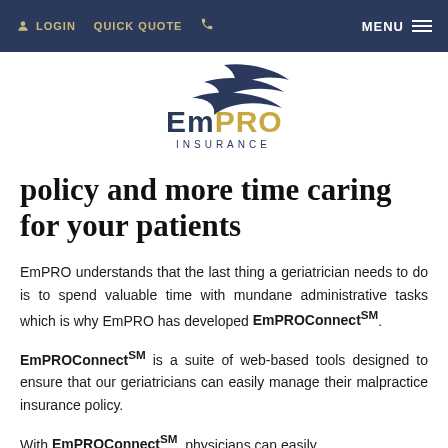LOGIN   QUICK QUOTE   [phone]   MENU
[Figure (logo): EmPRO Insurance logo with stylized wave/bird graphic above the text EMPRO INSURANCE]
policy and more time caring for your patients
EmPRO understands that the last thing a geriatrician needs to do is to spend valuable time with mundane administrative tasks which is why EmPRO has developed EmPROConnect℠.
EmPROConnect℠ is a suite of web-based tools designed to ensure that our geriatricians can easily manage their malpractice insurance policy.
With EmPROConnect℠, physicians can easily